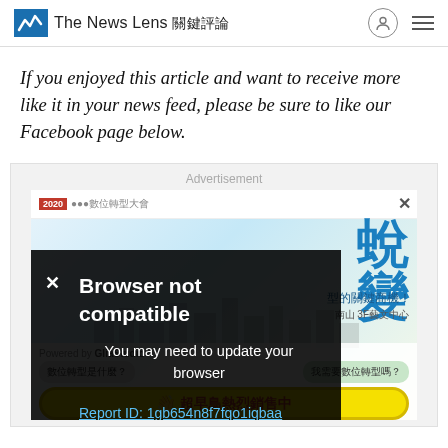The News Lens 關鍵評論
If you enjoyed this article and want to receive more like it in your news feed, please be sure to like our Facebook page below.
[Figure (screenshot): Advertisement area showing a Chinese digital transformation event ad with text '蛻變', '型的關鍵商機！', '南山 3F藝文中心', chat bubbles '數位轉型是什麼？' and '我需要數位轉型嗎？', 'Powered by GliaStudio', and a yellow CTA button '超早鳥熱烈銷售中'. An overlay shows 'Browser not compatible' error with 'You may need to update your browser' and a Report ID link.]
Browser not compatible
You may need to update your browser
Report ID: 1gb654n8f7fqo1iqbaa